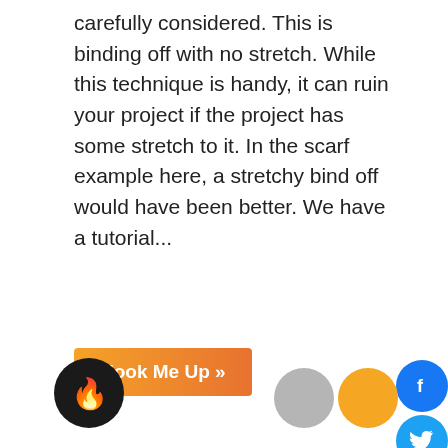carefully considered. This is binding off with no stretch. While this technique is handy, it can ruin your project if the project has some stretch to it. In the scarf example here, a stretchy bind off would have been better. We have a tutorial...
Hook Me Up »
Beginner